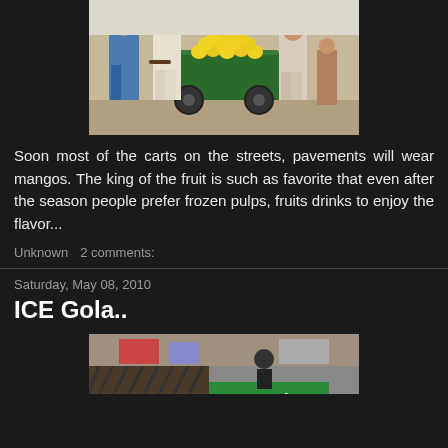[Figure (photo): Photo of a street vendor pushing a green cart loaded with yellow mangos. Two men in traditional South Asian clothing visible nearby on a street.]
Soon most of the carts on the streets, pavements will wear mangos. The king of the fruit is such as favorite that even after the season people prefer frozen pulps, fruits drinks to enjoy the flavor...
Unknown    2 comments:
Saturday, May 08, 2010
ICE Gola..
[Figure (photo): Photo of an Ice Gola street stall with a green sign reading 'Ice Gola' and various items visible in the background.]